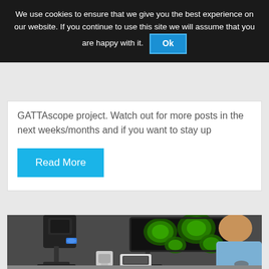We use cookies to ensure that we give you the best experience on our website. If you continue to use this site we will assume that you are happy with it. Ok
GATTAscope project. Watch out for more posts in the next weeks/months and if you want to stay up
Read More
[Figure (photo): A scientist or researcher sitting at a desk, viewed from behind, looking at a large computer monitor displaying green fluorescent microscopy images of cells. To the left is a large microscope setup with blue illumination. The lab environment has a dark grey background.]